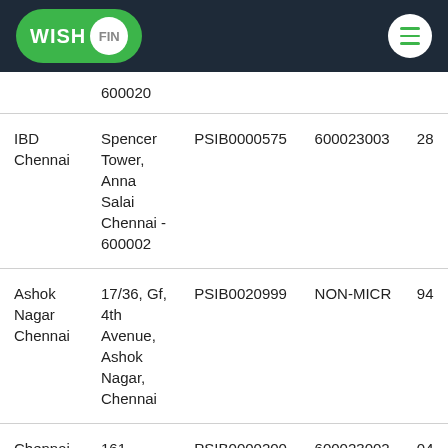WISH FIN
| Branch | Address | IFSC | MICR | ... |
| --- | --- | --- | --- | --- |
|  | 600020 |  |  |  |
| IBD Chennai | Spencer Tower, Anna Salai Chennai - 600002 | PSIB0000575 | 600023003 | 28 |
| Ashok Nagar Chennai | 17/36, Gf, 4th Avenue, Ashok Nagar, Chennai | PSIB0020999 | NON-MICR | 94 |
| Chennai Mount Road | 161 Mount Road Pb No 3729 | PSIB0000200 | 600023002 | 04 28 |